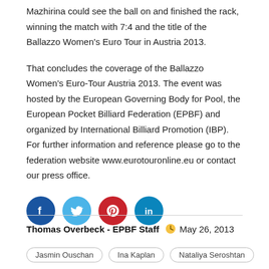Mazhirina could see the ball on and finished the rack, winning the match with 7:4 and the title of the Ballazzo Women's Euro Tour in Austria 2013.
That concludes the coverage of the Ballazzo Women's Euro-Tour Austria 2013. The event was hosted by the European Governing Body for Pool, the European Pocket Billiard Federation (EPBF) and organized by International Billiard Promotion (IBP). For further information and reference please go to the federation website www.eurotouronline.eu or contact our press office.
[Figure (other): Social media icons: Facebook, Twitter, Pinterest, LinkedIn]
Thomas Overbeck - EPBF Staff   May 26, 2013
Jasmin Ouschan   Ina Kaplan   Nataliya Seroshtan